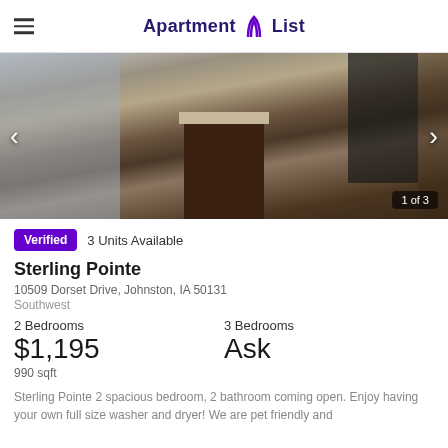Apartment List
[Figure (photo): Interior photo of apartment kitchen with dark wood cabinets, granite countertop island, hardwood floors, and black refrigerator. Navigation arrows on left and right. Counter shows '1 of 3'.]
Verified  3 Units Available
Sterling Pointe
10509 Dorset Drive, Johnston, IA 50131
Southwest
2 Bedrooms
$1,195
990 sqft
3 Bedrooms
Ask
Sterling Pointe 2 spacious bedroom, 2 bathroom coming open. Enjoy having your own full size washer and dryer! We are pet friendly and